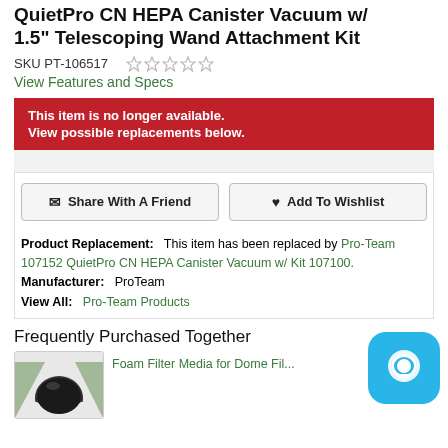QuietPro CN HEPA Canister Vacuum w/ 1.5" Telescoping Wand Attachment Kit
SKU PT-106517
View Features and Specs
This item is no longer available. View possible replacements below.
Product Replacement:    This item has been replaced by Pro-Team 107152 QuietPro CN HEPA Canister Vacuum w/ Kit 107100.
Manufacturer:   ProTeam
View All:   Pro-Team Products
Frequently Purchased Together
Foam Filter Media for Dome Fil...
[Figure (photo): Black dome-shaped filter media product image]